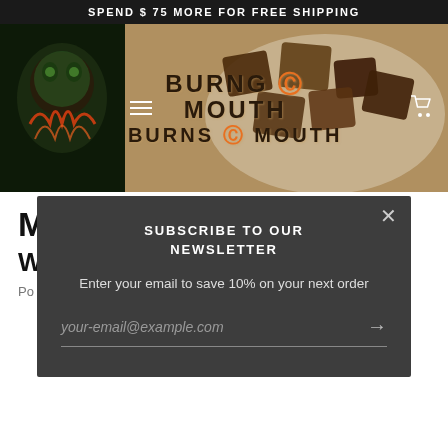SPEND $ 75 MORE FOR FREE SHIPPING
[Figure (screenshot): Hero banner showing chocolate truffles on a plate with a tattoo artwork on the left, and the Burning Mouth logo overlaid in large dark text with an orange ampersand]
M...
W...
Po...
[Figure (screenshot): Subscribe to our newsletter modal popup with dark background, close X button, title 'SUBSCRIBE TO OUR NEWSLETTER', subtext 'Enter your email to save 10% on your next order', and an email input field with placeholder 'your-email@example.com' and an arrow button]
Square truffles are the best truffles. No one has time for rolling truffles when simply slicing them will do. Because slicing these truffles significantly cuts down the time needed to get these delicious morsels into your mouth.